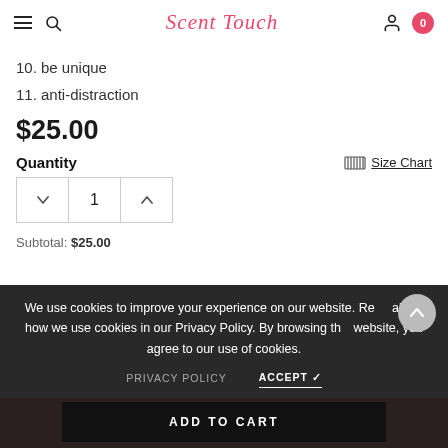Scent Touch
10. be unique
11. anti-distraction
$25.00
Quantity
Size Chart
Subtotal: $25.00
We use cookies to improve your experience on our website. Read about how we use cookies in our Privacy Policy. By browsing this website, you agree to our use of cookies.
PRIVACY POLICY
ACCEPT ✓
ADD TO CART